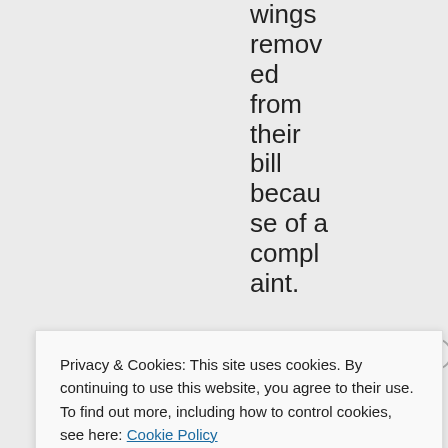wings removed from their bill because of a complaint.
Like
Privacy & Cookies: This site uses cookies. By continuing to use this website, you agree to their use.
To find out more, including how to control cookies, see here: Cookie Policy
Close and accept